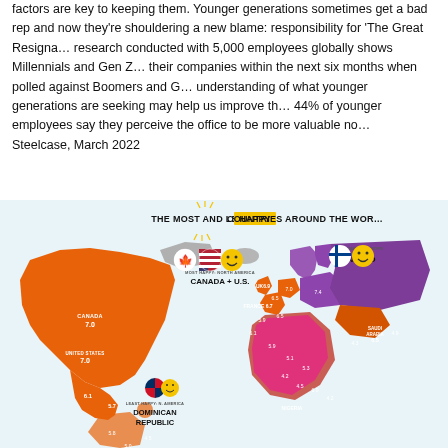factors are key to keeping them. Younger generations sometimes get a bad rep and now they're shouldering a new blame: responsibility for 'The Great Resignation'. research conducted with 5,000 employees globally shows Millennials and Gen Z are more likely to leave their companies within the next six months when polled against Boomers and Gen X. A better understanding of what younger generations are seeking may help us improve the situation. Notably, 44% of younger employees say they perceive the office to be more valuable now than before. Steelcase, March 2022
[Figure (map): Infographic map titled 'THE MOST AND LEAST HAPPY COUNTRIES AROUND THE WORLD'. Shows a color-coded world map. North America highlighted in orange with Canada and U.S. both scored 7.0 labeled as Most Happy: North America. Dominican Republic labeled as Least Happy: N. America. Finland labeled as Most Happy: Europe. Various European and African countries shown with happiness scores. Countries colored in orange, purple, magenta, and grey indicating happiness levels.]